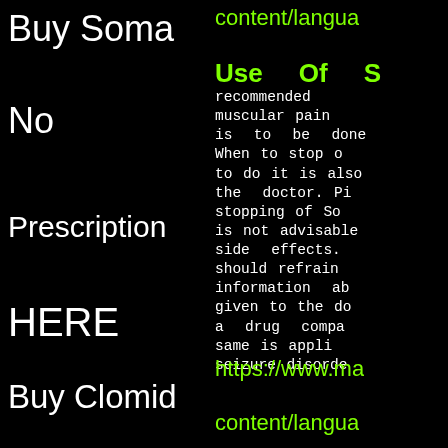Buy Soma
No
Prescription
HERE
Buy Clomid
content/langua
Use Of S
recommended muscular pain is to be done When to stop to do it is also the doctor. Pi stopping of So is not advisable side effects. should refrain information ab given to the do a drug compa same is appli seizure disorde
https://www.ma
content/langua